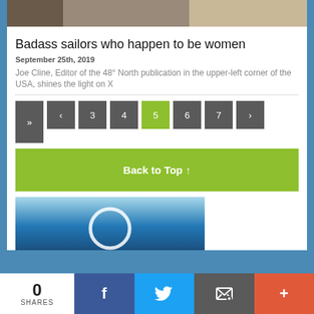[Figure (photo): Top photo of a harbor/boat scene cropped at top of page]
Badass sailors who happen to be women
September 25th, 2019
Joe Cline, Editor of the 48° North publication in the upper-left corner of the USA, shines the light on X
Pagination: « 3 4 5 6 7 »
Back to Top ↑
[Figure (photo): Bottom photo showing ocean water with a white circle/logo overlay]
0 SHARES
Social share buttons: Facebook, Twitter, Email, More